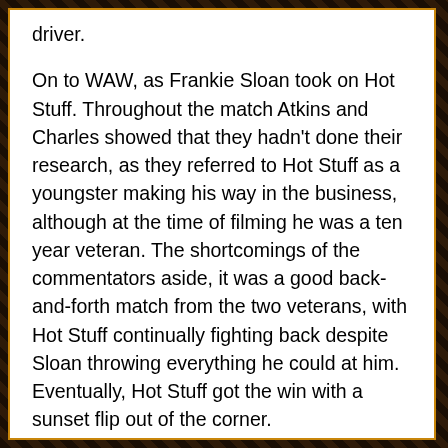driver.

On to WAW, as Frankie Sloan took on Hot Stuff. Throughout the match Atkins and Charles showed that they hadn't done their research, as they referred to Hot Stuff as a youngster making his way in the business, although at the time of filming he was a ten year veteran. The shortcomings of the commentators aside, it was a good back-and-forth match from the two veterans, with Hot Stuff continually fighting back despite Sloan throwing everything he could at him. Eventually, Hot Stuff got the win with a sunset flip out of the corner.